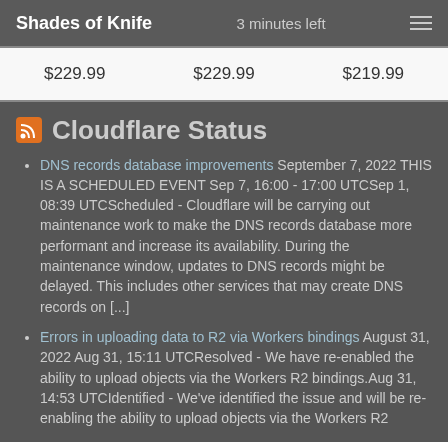Shades of Knife   3 minutes left
| $229.99 | $229.99 | $219.99 |
Cloudflare Status
DNS records database improvements September 7, 2022 THIS IS A SCHEDULED EVENT Sep 7, 16:00 - 17:00 UTCSep 1, 08:39 UTCScheduled - Cloudflare will be carrying out maintenance work to make the DNS records database more performant and increase its availability. During the maintenance window, updates to DNS records might be delayed. This includes other services that may create DNS records on [...]
Errors in uploading data to R2 via Workers bindings August 31, 2022 Aug 31, 15:11 UTCResolved - We have re-enabled the ability to upload objects via the Workers R2 bindings.Aug 31, 14:53 UTCIdentified - We've identified the issue and will be re-enabling the ability to upload objects via the Workers R2